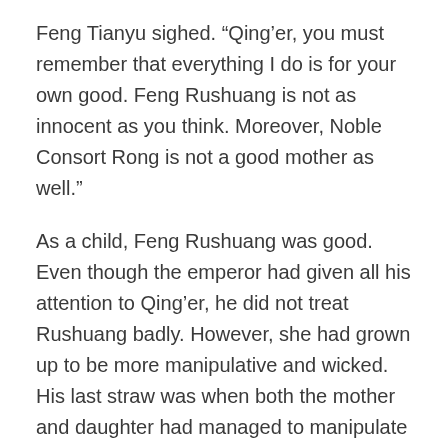Feng Tianyu sighed. “Qing’er, you must remember that everything I do is for your own good. Feng Rushuang is not as innocent as you think. Moreover, Noble Consort Rong is not a good mother as well.”
As a child, Feng Rushuang was good. Even though the emperor had given all his attention to Qing’er, he did not treat Rushuang badly. However, she had grown up to be more manipulative and wicked. His last straw was when both the mother and daughter had managed to manipulate Qing’er to trust them wholeheartedly.
Looking at the new gray hair growing at Feng Tianyu’s temples made her sad. “Father, I was immature and had made you worried. I won’t let you down this time.”
“Alright, alright!” Feng Tianyu chuckled after hearing his daughter’s promise, which made him feel contented. “I feel glad that you have figured it out now. If this